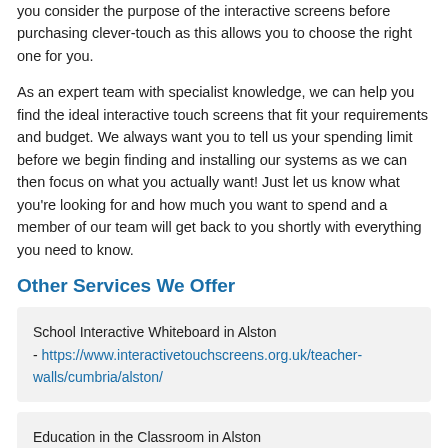you consider the purpose of the interactive screens before purchasing clever-touch as this allows you to choose the right one for you.
As an expert team with specialist knowledge, we can help you find the ideal interactive touch screens that fit your requirements and budget. We always want you to tell us your spending limit before we begin finding and installing our systems as we can then focus on what you actually want! Just let us know what you're looking for and how much you want to spend and a member of our team will get back to you shortly with everything you need to know.
Other Services We Offer
School Interactive Whiteboard in Alston - https://www.interactivetouchscreens.org.uk/teacher-walls/cumbria/alston/
Education in the Classroom in Alston - https://www.interactivetouchscreens.org.uk/classroom-education/cumbria/alston/